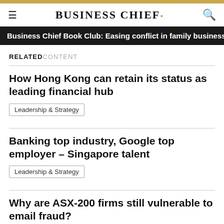BUSINESS CHIEF.
Business Chief Book Club: Easing conflict in family business
RELATED CONTENT
How Hong Kong can retain its status as leading financial hub
Leadership & Strategy
Banking top industry, Google top employer – Singapore talent
Leadership & Strategy
Why are ASX-200 firms still vulnerable to email fraud?